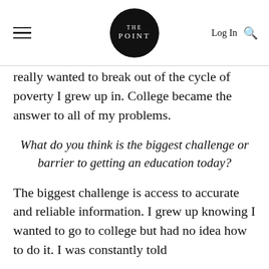THE POINT — Log In
really wanted to break out of the cycle of poverty I grew up in. College became the answer to all of my problems.
What do you think is the biggest challenge or barrier to getting an education today?
The biggest challenge is access to accurate and reliable information. I grew up knowing I wanted to go to college but had no idea how to do it. I was constantly told